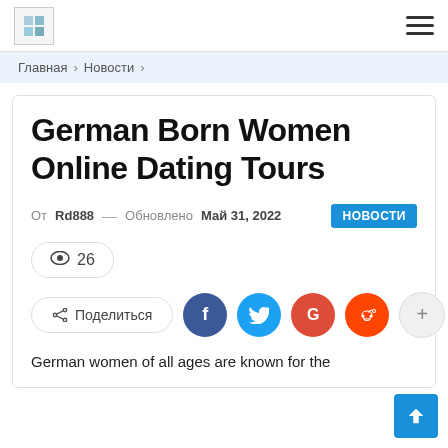Главная > Новости >
German Born Women Online Dating Tours
От Rd888 — Обновлено Май 31, 2022  НОВОСТИ
👁 26
Поделиться  f  t  G  reddit  +
German women of all ages are known for the